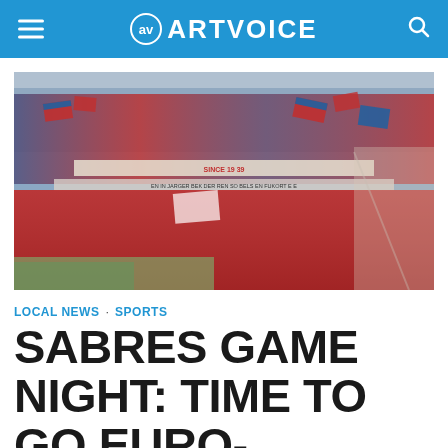ARTVOICE
[Figure (photo): Aerial view of a packed sports arena stadium with fans waving red, white, and blue flags and banners filling the stands]
LOCAL NEWS · SPORTS
SABRES GAME NIGHT: TIME TO GO EURO-...